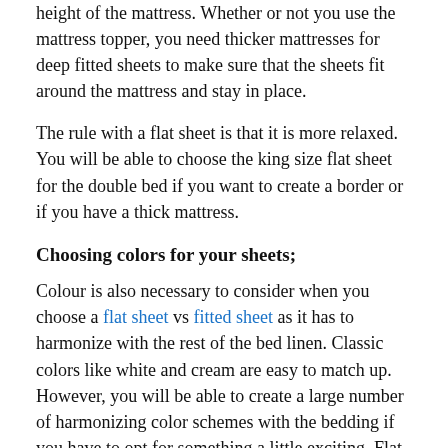height of the mattress. Whether or not you use the mattress topper, you need thicker mattresses for deep fitted sheets to make sure that the sheets fit around the mattress and stay in place.
The rule with a flat sheet is that it is more relaxed. You will be able to choose the king size flat sheet for the double bed if you want to create a border or if you have a thick mattress.
Choosing colors for your sheets;
Colour is also necessary to consider when you choose a flat sheet vs fitted sheet as it has to harmonize with the rest of the bed linen. Classic colors like white and cream are easy to match up. However, you will be able to create a large number of harmonizing color schemes with the bedding if you have to opt for something a little exciting. Flat, as well as fitted sheets, are available in a wide range of colors.
The trend over recent years is one that has been going on in European countries is to use a duvet, duvet cover, and bottom sheet when making the bed. The point has been made that the top flat sheet would be one less sheet to launder, but it would also mean that you probably would have to launder the du...